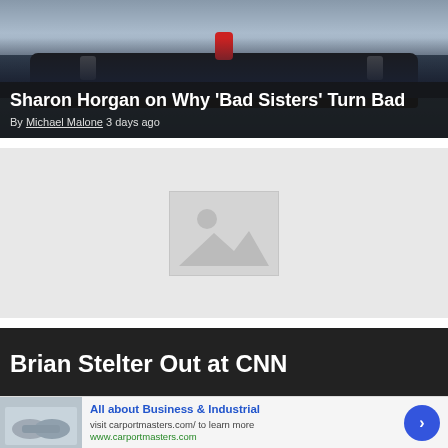[Figure (photo): Hero image showing people on top of a car with a dark overlay, for article about Sharon Horgan and Bad Sisters]
Sharon Horgan on Why 'Bad Sisters' Turn Bad
By Michael Malone 3 days ago
[Figure (photo): Placeholder image with mountain/landscape icon on grey background]
Brian Stelter Out at CNN
[Figure (photo): Advertisement banner: All about Business & Industrial, visit carportmasters.com/ to learn more, www.carportmasters.com, with handshake thumbnail and blue arrow button]